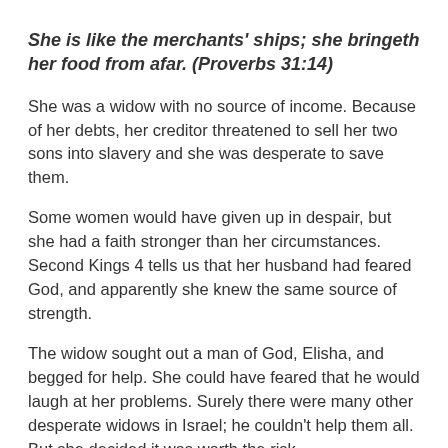She is like the merchants' ships; she bringeth her food from afar. (Proverbs 31:14)
She was a widow with no source of income. Because of her debts, her creditor threatened to sell her two sons into slavery and she was desperate to save them.
Some women would have given up in despair, but she had a faith stronger than her circumstances. Second Kings 4 tells us that her husband had feared God, and apparently she knew the same source of strength.
The widow sought out a man of God, Elisha, and begged for help. She could have feared that he would laugh at her problems. Surely there were many other desperate widows in Israel; he couldn’t help them all. But she decided it was worth the risk.